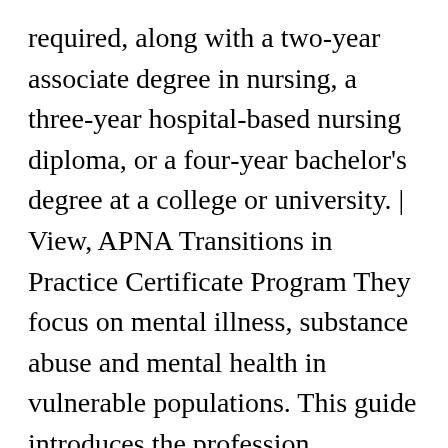required, along with a two-year associate degree in nursing, a three-year hospital-based nursing diploma, or a four-year bachelor's degree at a college or university. | View, APNA Transitions in Practice Certificate Program They focus on mental illness, substance abuse and mental health in vulnerable populations. This guide introduces the profession, exploring how to become a PMHNP and answering the question: what does a psychiatric mental health nurse practitioner do? With the current shortage of qualified mental health and substance use disorder professionals, PMH nurses have the training, skills, and compassion needed to help fill the growing mental health...